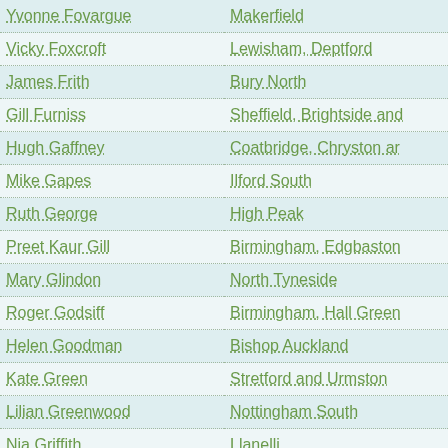| Name | Constituency |
| --- | --- |
| Yvonne Fovargue | Makerfield |
| Vicky Foxcroft | Lewisham, Deptford |
| James Frith | Bury North |
| Gill Furniss | Sheffield, Brightside and |
| Hugh Gaffney | Coatbridge, Chryston ar |
| Mike Gapes | Ilford South |
| Ruth George | High Peak |
| Preet Kaur Gill | Birmingham, Edgbaston |
| Mary Glindon | North Tyneside |
| Roger Godsiff | Birmingham, Hall Green |
| Helen Goodman | Bishop Auckland |
| Kate Green | Stretford and Urmston |
| Lilian Greenwood | Nottingham South |
| Nia Griffith | Llanelli |
| John Grogan | Keighley |
| Andrew Gwynne | Denton and Reddish |
| Louise Haigh | Sheffield, Heeley |
| Fabian Hamilton | Leeds North East |